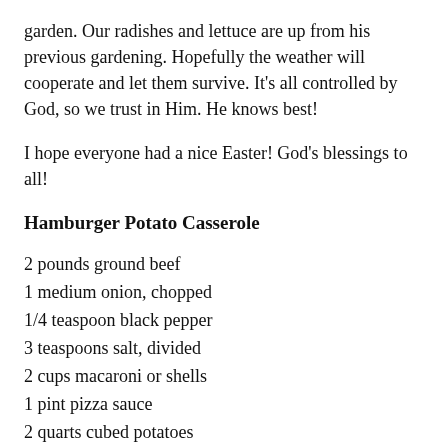garden. Our radishes and lettuce are up from his previous gardening. Hopefully the weather will cooperate and let them survive. It's all controlled by God, so we trust in Him. He knows best!
I hope everyone had a nice Easter! God's blessings to all!
Hamburger Potato Casserole
2 pounds ground beef
1 medium onion, chopped
1/4 teaspoon black pepper
3 teaspoons salt, divided
2 cups macaroni or shells
1 pint pizza sauce
2 quarts cubed potatoes
3 cups milk
2 rounded tablespoons flour
1 pound Velveeta cheese, melted